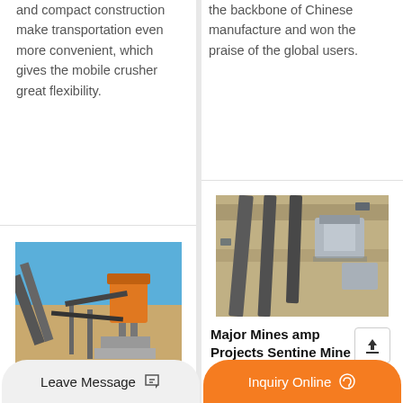and compact construction make transportation even more convenient, which gives the mobile crusher great flexibility.
the backbone of Chinese manufacture and won the praise of the global users.
[Figure (photo): Aerial/ground view of industrial crushing plant with orange crusher unit and conveyor belts on dusty site]
National Scrap Metal Prices Todays Scrap Metal Prices
[Figure (photo): Aerial view of mining/crushing facility with conveyor belts and processing equipment]
Major Mines amp Projects Sentine Mine
With all three crushers
Leave Message
Inquiry Online